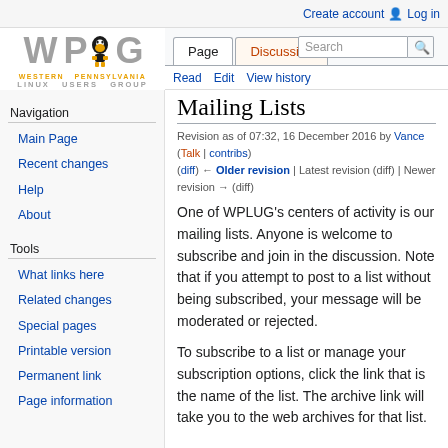Create account  Log in
[Figure (logo): WPLUG Western Pennsylvania Linux Users Group logo with Tux penguin]
Mailing Lists
Revision as of 07:32, 16 December 2016 by Vance (Talk | contribs)
(diff) ← Older revision | Latest revision (diff) | Newer revision → (diff)
Navigation
Main Page
Recent changes
Help
About
Tools
What links here
Related changes
Special pages
Printable version
Permanent link
Page information
One of WPLUG's centers of activity is our mailing lists. Anyone is welcome to subscribe and join in the discussion. Note that if you attempt to post to a list without being subscribed, your message will be moderated or rejected.
To subscribe to a list or manage your subscription options, click the link that is the name of the list. The archive link will take you to the web archives for that list.